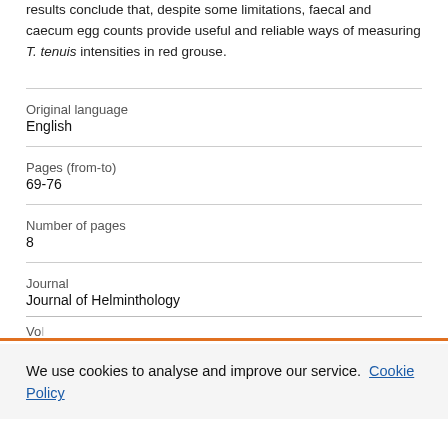results conclude that, despite some limitations, faecal and caecum egg counts provide useful and reliable ways of measuring T. tenuis intensities in red grouse.
| Original language | English |
| Pages (from-to) | 69-76 |
| Number of pages | 8 |
| Journal | Journal of Helminthology |
| Volume |  |
We use cookies to analyse and improve our service. Cookie Policy